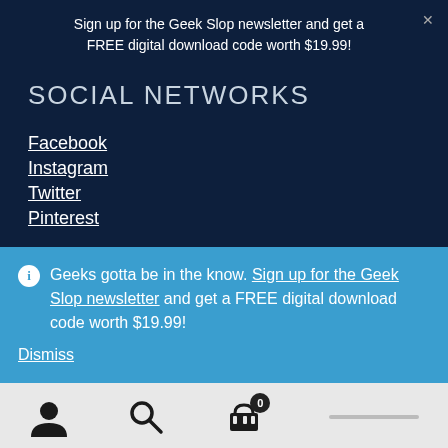Sign up for the Geek Slop newsletter and get a FREE digital download code worth $19.99!
SOCIAL NETWORKS
Facebook
Instagram
Twitter
Pinterest
Geeks gotta be in the know. Sign up for the Geek Slop newsletter and get a FREE digital download code worth $19.99!
Dismiss